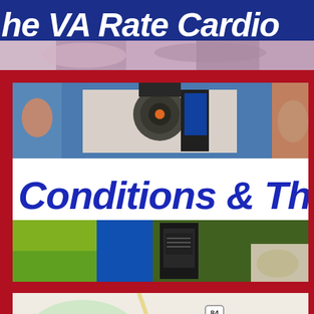[Figure (screenshot): Top banner image showing partial text 'he VA Rate Cardio' in white bold italic letters on dark blue background, with a blurred medical/anatomical photo below it]
[Figure (photo): Middle composite image: top half shows blurred photo of people and medical equipment including a camera-like device; center white band shows 'Conditions & The' in large bold blue italic text; bottom half shows blurred image of green/blue/black medical equipment]
[Figure (map): Google Maps screenshot showing road map with route 84, Bryant Commons label, and surrounding area with green spaces]